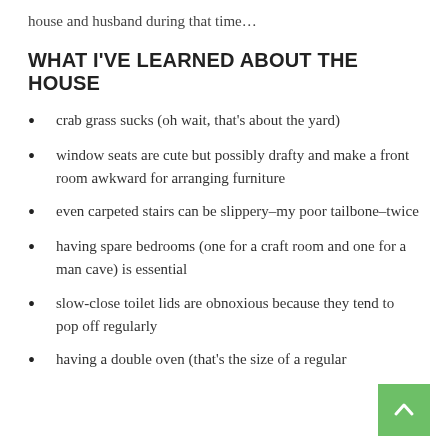house and husband during that time…
WHAT I'VE LEARNED ABOUT THE HOUSE
crab grass sucks (oh wait, that's about the yard)
window seats are cute but possibly drafty and make a front room awkward for arranging furniture
even carpeted stairs can be slippery–my poor tailbone–twice
having spare bedrooms (one for a craft room and one for a man cave) is essential
slow-close toilet lids are obnoxious because they tend to pop off regularly
having a double oven (that's the size of a regular